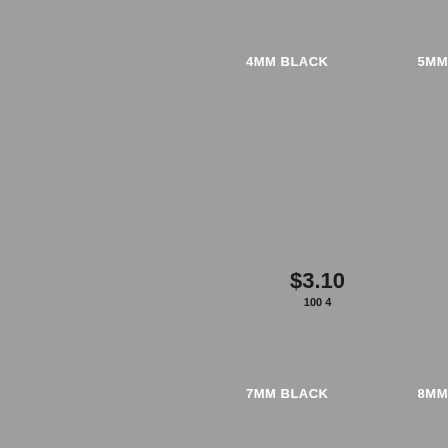4MM BLACK
5MM
$3.10
100 4
7MM BLACK
8MM